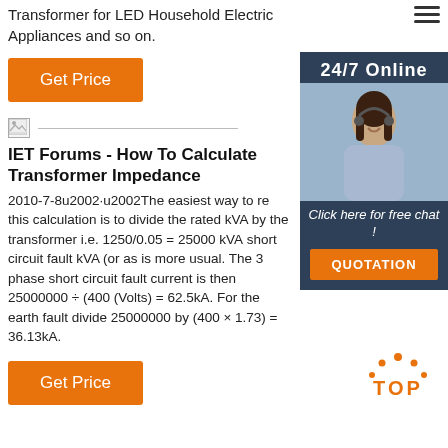Transformer for LED Household Electric Appliances and so on.
[Figure (other): Orange 'Get Price' button]
[Figure (other): 24/7 Online chat sidebar with woman wearing headset, 'Click here for free chat!' text, and orange QUOTATION button]
[Figure (other): Broken image icon with horizontal divider line]
IET Forums - How To Calculate Transformer Impedance
2010-7-8u2002·u2002The easiest way to re this calculation is to divide the rated kVA by the transformer i.e. 1250/0.05 = 25000 kVA short circuit fault kVA (or as is more usual. The 3 phase short circuit fault current is then 25000000 ÷ (400 (Volts) = 62.5kA. For the earth fault divide 25000000 by (400 × 1.73) = 36.13kA.
[Figure (other): Orange 'Get Price' button]
[Figure (other): TOP back-to-top icon with orange dots and text]